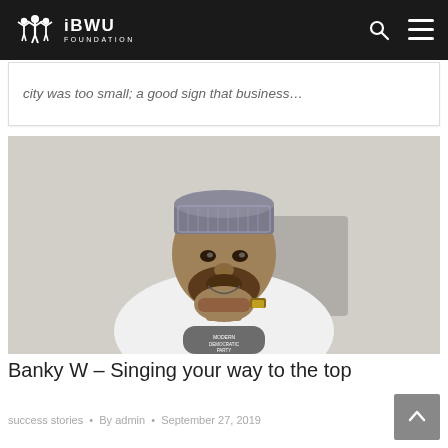IBWU FOUNDATION
city was too small; a good sign that business…
[Figure (photo): A man wearing a traditional grey and white embroidered cap and a white t-shirt with a 'Modern Democratic Party' graphic, sitting with hands clasped under his chin, looking at the camera.]
Banky W – Singing your way to the top
success stories • By admin • September 27, 2019